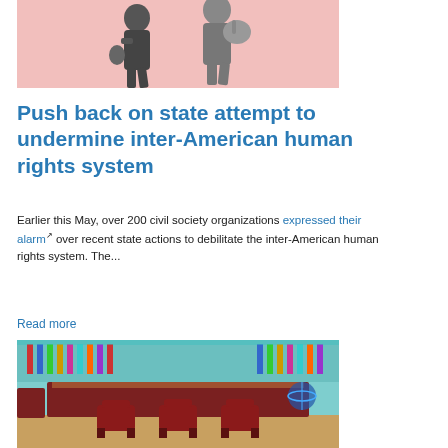[Figure (photo): Black and white photo of two people walking, carrying bags, on a pink/peach background]
Push back on state attempt to undermine inter-American human rights system
Earlier this May, over 200 civil society organizations expressed their alarm over recent state actions to debilitate the inter-American human rights system. The...
Read more
[Figure (photo): Color photo of a formal meeting room or council chamber with red chairs, wooden desks, and colorful country flags in the background, with a teal/cyan color cast]